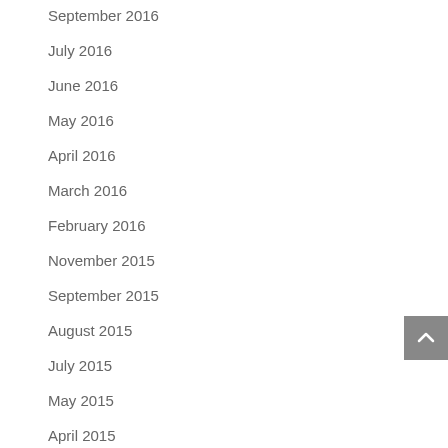September 2016
July 2016
June 2016
May 2016
April 2016
March 2016
February 2016
November 2015
September 2015
August 2015
July 2015
May 2015
April 2015
March 2015
February 2015